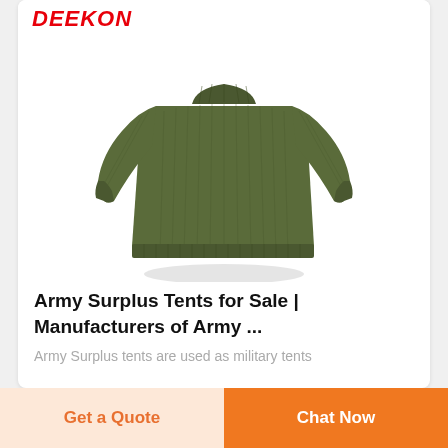DEEKON
[Figure (photo): Olive green military ribbed wool sweater/pullover shown from torso up, long sleeves, photographed against white background]
Army Surplus Tents for Sale | Manufacturers of Army ...
Army Surplus tents are used as military tents
Get a Quote
Chat Now